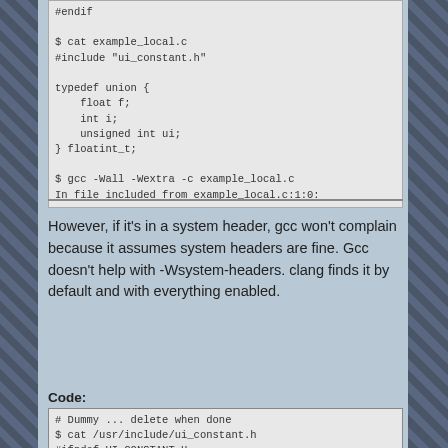#endif

$ cat example_local.c
#include "ui_constant.h"

typedef union {
    float f;
    int i;
    unsigned int ui;
} floatint_t;

$ gcc -Wall -Wextra -c example_local.c
In file included from example_local.c:1:0:
However, if it's in a system header, gcc won't complain because it assumes system headers are fine.  Gcc doesn't help with -Wsystem-headers.  clang finds it by default and with everything enabled.
Code:
# Dummy ... delete when done
$ cat /usr/include/ui_constant.h
#ifndef UI_CONSTANT_H
#define UI_CONSTANT_H

#define ui 20

#endif

$ cat example_sys.c
#include <ui_constant.h>